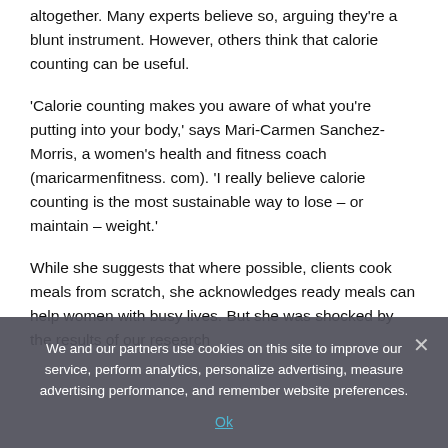altogether. Many experts believe so, arguing they're a blunt instrument. However, others think that calorie counting can be useful.
'Calorie counting makes you aware of what you're putting into your body,' says Mari-Carmen Sanchez-Morris, a women's health and fitness coach (maricarmenfitness. com). 'I really believe calorie counting is the most sustainable way to lose – or maintain – weight.'
While she suggests that where possible, clients cook meals from scratch, she acknowledges ready meals can help women with busy lives. But she was shocked by the results of our research
We and our partners use cookies on this site to improve our service, perform analytics, personalize advertising, measure advertising performance, and remember website preferences.
Ok